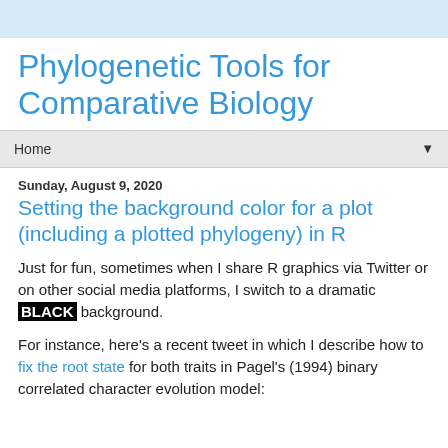Phylogenetic Tools for Comparative Biology
Home ▼
Sunday, August 9, 2020
Setting the background color for a plot (including a plotted phylogeny) in R
Just for fun, sometimes when I share R graphics via Twitter or on other social media platforms, I switch to a dramatic BLACK background.
For instance, here's a recent tweet in which I describe how to fix the root state for both traits in Pagel's (1994) binary correlated character evolution model: